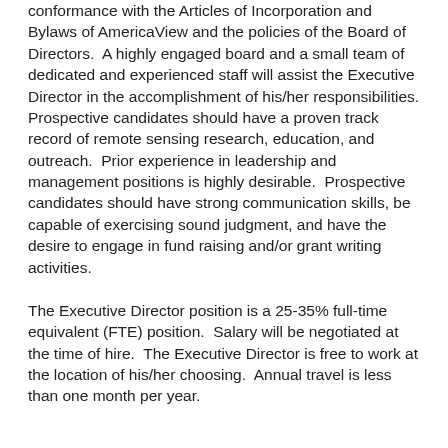conformance with the Articles of Incorporation and Bylaws of AmericaView and the policies of the Board of Directors.  A highly engaged board and a small team of dedicated and experienced staff will assist the Executive Director in the accomplishment of his/her responsibilities. Prospective candidates should have a proven track record of remote sensing research, education, and outreach.  Prior experience in leadership and management positions is highly desirable.  Prospective candidates should have strong communication skills, be capable of exercising sound judgment, and have the desire to engage in fund raising and/or grant writing activities.
The Executive Director position is a 25-35% full-time equivalent (FTE) position.  Salary will be negotiated at the time of hire.  The Executive Director is free to work at the location of his/her choosing.  Annual travel is less than one month per year.
Interested candidates should submit a CV and cover letter to the AmericaView Executive Director search committee chair